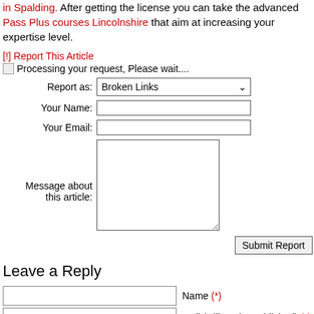in Spalding. After getting the license you can take the advanced Pass Plus courses Lincolnshire that aim at increasing your expertise level.
[!] Report This Article
Processing your request, Please wait....
[Figure (screenshot): Web form with fields: Report as (dropdown: Broken Links), Your Name (text input), Your Email (text input), Message about this article (textarea), and Submit Report button.]
Leave a Reply
[Figure (screenshot): Reply form with Name (*), Mail (will not be published) (*), and Website input fields, plus a large message textarea at the bottom.]